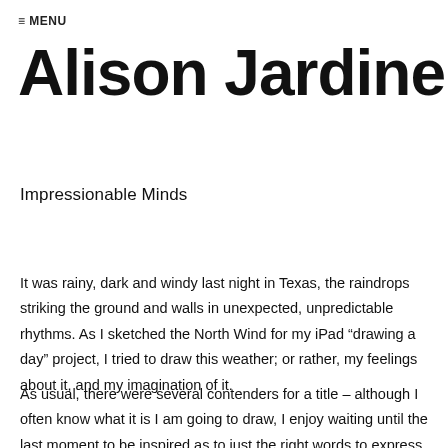≡ MENU
Alison Jardine
Impressionable Minds
It was rainy, dark and windy last night in Texas, the raindrops striking the ground and walls in unexpected, unpredictable rhythms. As I sketched the North Wind for my iPad “drawing a day” project, I tried to draw this weather; or rather, my feelings about it, and my imagination of it.
As usual, there were several contenders for a title – although I often know what it is I am going to draw, I enjoy waiting until the last moment to be inspired as to just the right words to express even more than I put in the